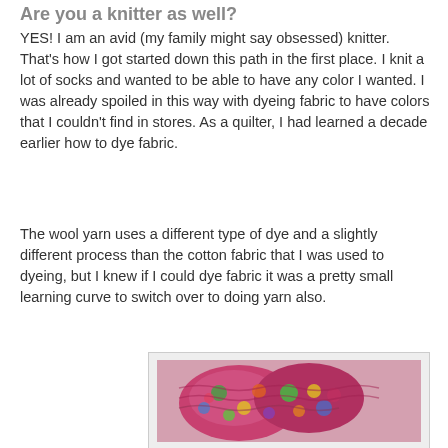Are you a knitter as well?
YES!  I am an avid (my family might say obsessed) knitter.  That's how I got started down this path in the first place.  I knit a lot of socks and wanted to be able to have any color I wanted.  I was already spoiled in this way with dyeing fabric to have colors that I couldn't find in stores.  As a quilter, I had learned a decade earlier how to dye fabric.
The wool yarn uses a different type of dye and a slightly different process than the cotton fabric that I was used to dyeing, but I knew if I could dye fabric it was a pretty small learning curve to switch over to doing yarn also.
[Figure (photo): Colorful hand-knitted items (likely socks or slippers) in vibrant multicolor yarn with pinks, greens, yellows, and blues]